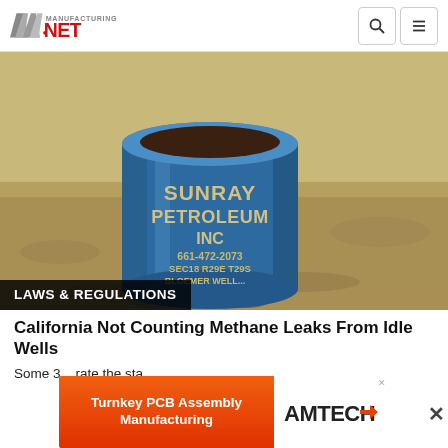Manufacturing.net logo, search and menu icons
[Figure (photo): A blue cylindrical oil drum labeled 'SUNRAY PETROLEUM INC 661-472-2073 SEC18 R29E T29S BLOEMER WELL' sitting on rocky/dirt ground outdoors.]
LAWS & REGULATIONS
California Not Counting Methane Leaks From Idle Wells
Some 3... rate the sta...
[Figure (infographic): Advertisement banner: Turnkey PCB Assembly Manufacturing / AMTECH logo]